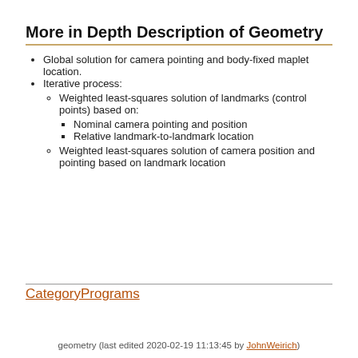More in Depth Description of Geometry
Global solution for camera pointing and body-fixed maplet location.
Iterative process:
Weighted least-squares solution of landmarks (control points) based on:
Nominal camera pointing and position
Relative landmark-to-landmark location
Weighted least-squares solution of camera position and pointing based on landmark location
CategoryPrograms
geometry (last edited 2020-02-19 11:13:45 by JohnWeirich)